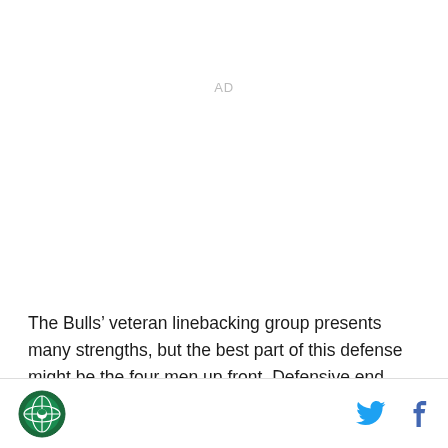AD
The Bulls’ veteran linebacking group presents many strengths, but the best part of this defense might be the four men up front. Defensive end Taylor Riggins returned to the lineup last Thursday after missing the entire 2020 season, and he looked fresher than ever.
Site logo | Twitter icon | Facebook icon